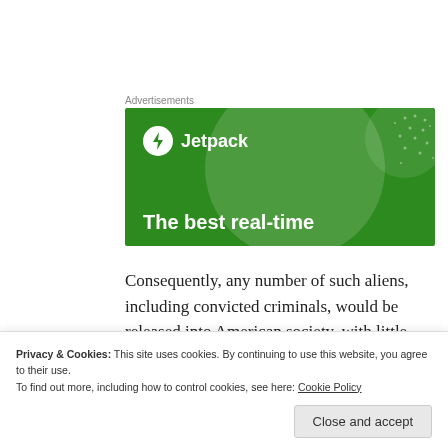Advertisements
[Figure (illustration): Jetpack advertisement banner with green background, circular shapes, dot pattern, Jetpack logo with lightning bolt icon, and tagline 'The best real-time']
Consequently, any number of such aliens, including convicted criminals, would be released into American society, with little reason
Privacy & Cookies: This site uses cookies. By continuing to use this website, you agree to their use.
To find out more, including how to control cookies, see here: Cookie Policy
Close and accept